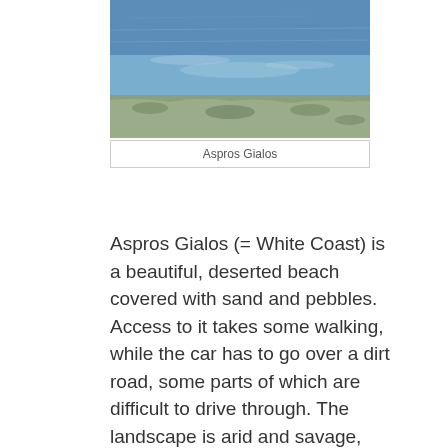[Figure (photo): Aerial or elevated view of Aspros Gialos beach showing blue sea water and a rocky/sandy shoreline]
Aspros Gialos
Aspros Gialos (= White Coast) is a beautiful, deserted beach covered with sand and pebbles. Access to it takes some walking, while the car has to go over a dirt road, some parts of which are difficult to drive through. The landscape is arid and savage, since there are many quarries in the surrounding area. Visitors should make the necessary